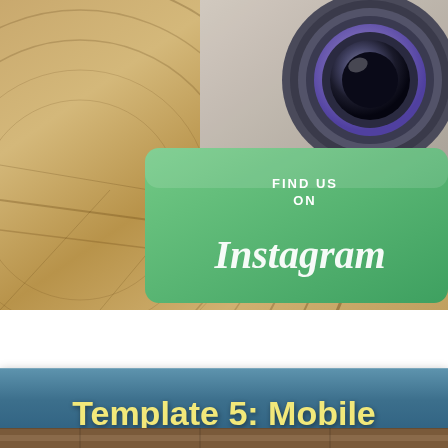[Figure (illustration): Decorative image showing a wooden circular spool/reel on a wooden floor background, with an Instagram camera icon and a green 'Find Us On Instagram' badge in the upper right corner]
Template 5: Mobile Squeeze Pages
[Figure (illustration): Partial dark wooden plank floor visible at bottom edge of page]